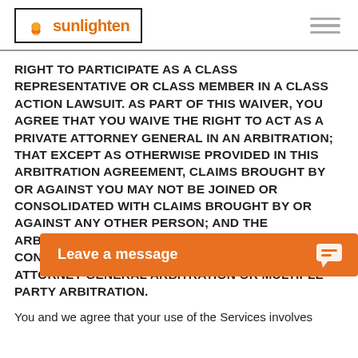sunlighten
RIGHT TO PARTICIPATE AS A CLASS REPRESENTATIVE OR CLASS MEMBER IN A CLASS ACTION LAWSUIT. AS PART OF THIS WAIVER, YOU AGREE THAT YOU WAIVE THE RIGHT TO ACT AS A PRIVATE ATTORNEY GENERAL IN AN ARBITRATION; THAT EXCEPT AS OTHERWISE PROVIDED IN THIS ARBITRATION AGREEMENT, CLAIMS BROUGHT BY OR AGAINST YOU MAY NOT BE JOINED OR CONSOLIDATED WITH CLAIMS BROUGHT BY OR AGAINST ANY OTHER PERSON; AND THE ARBITRATOR SHALL HAVE NO AUTHORITY TO CONDUCT CLASS-WIDE ARBITRATION, PRIVATE ATTORNEY GENERAL ARBITRATION OR MULTIPLE-PARTY ARBITRATION.
You and we agree that your use of the Services involves